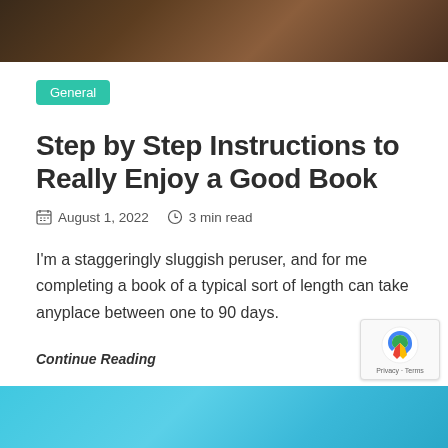[Figure (photo): Dark toned photo at the top of the page, brownish warm tones]
General
Step by Step Instructions to Really Enjoy a Good Book
August 1, 2022  3 min read
I'm a staggeringly sluggish peruser, and for me completing a book of a typical sort of length can take anyplace between one to 90 days.
Continue Reading
[Figure (photo): Photo at the bottom of the page with teal/cyan tones showing a person]